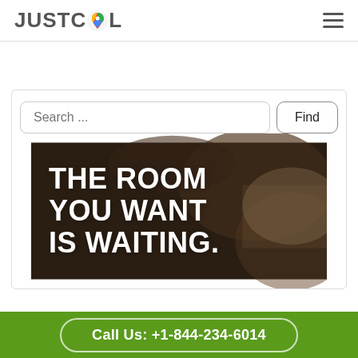JUSTCOL
[Figure (screenshot): Search bar with placeholder 'Search ...' and a 'Find' button]
[Figure (photo): Hero banner image with dark brown/wood background and white bold text reading 'THE ROOM YOU WANT IS WAITING.']
Call Us: +1-844-234-6014